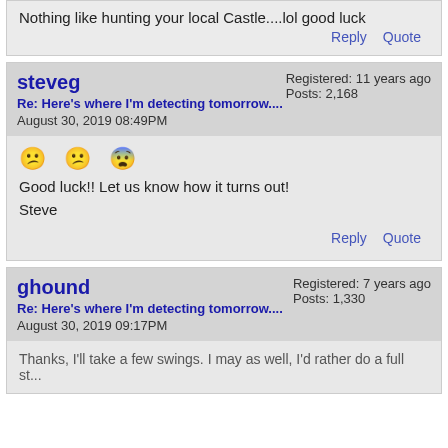Nothing like hunting your local Castle....lol good luck
Reply   Quote
steveg
Re: Here's where I'm detecting tomorrow....
August 30, 2019 08:49PM
Registered: 11 years ago
Posts: 2,168
😵 😵 😯
Good luck!! Let us know how it turns out!

Steve
Reply   Quote
ghound
Re: Here's where I'm detecting tomorrow....
August 30, 2019 09:17PM
Registered: 7 years ago
Posts: 1,330